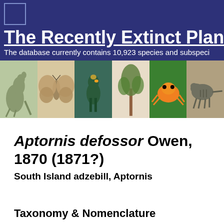The Recently Extinct Plants and...
The database currently contains 10,923 species and subspeci...
[Figure (illustration): Header image strip showing six illustrations of extinct species: a kangaroo, a moth, a bird (parrot-like), a plant, a golden poison frog, and a thylacine]
Aptornis defossor Owen, 1870 (1871?)
South Island adzebill, Aptornis
Taxonomy & Nomenclature